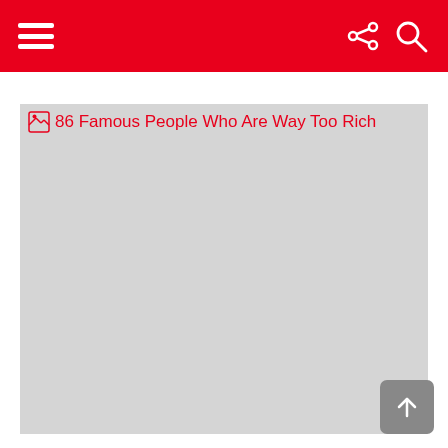86 Famous People Who Are Way Too Rich
[Figure (photo): Broken/unloaded image placeholder showing alt text: 86 Famous People Who Are Way Too Rich. Gray rectangle with red alt text.]
Back to top button (arrow up icon)